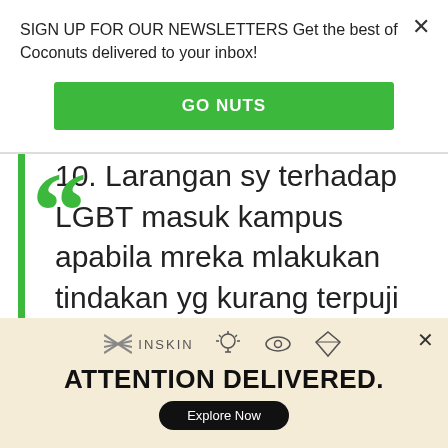SIGN UP FOR OUR NEWSLETTERS Get the best of Coconuts delivered to your inbox!
GO NUTS
10. Larangan sy terhadap LGBT masuk kampus apabila mreka mlakukan tindakan yg kurang terpuji seperti bercinta, atau pamer kemesraan
INSKIN
ATTENTION DELIVERED.
Explore Now